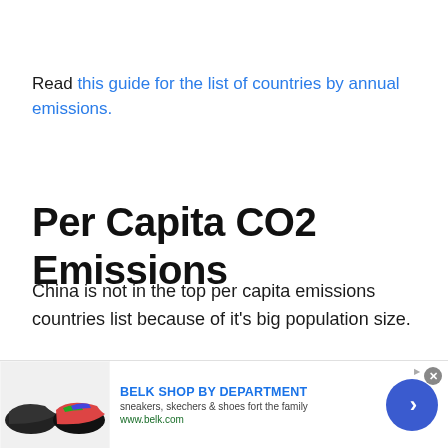Read this guide for the list of countries by annual emissions.
Per Capita CO2 Emissions
China is not in the top per capita emissions countries list because of it's big population size.
For context, China sits at 7.36 tonnes of CO2